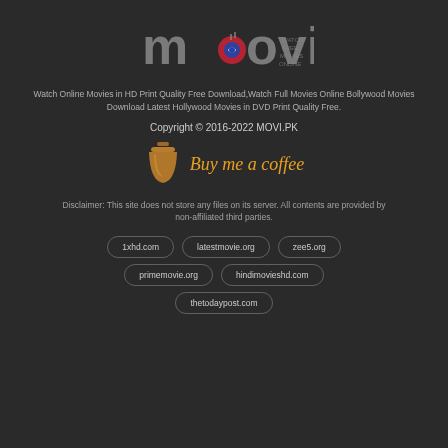[Figure (logo): MOVI logo - watch free movies online branding with stylized text and TV/eye icon]
Watch Online Movies in HD Print Quality Free Download,Watch Full Movies Online Bollywood Movies Download Latest Hollywood Movies in DVD Print Quality Free.
Copyright © 2016-2022 MOVI.PK
[Figure (illustration): Buy me a coffee button with coffee cup icon and orange italic text]
Disclaimer: This site does not store any files on its server. All contents are provided by non-affiliated third parties.
1xhd.com
latestmovie.org
zee5.org
primemovie.org
hindimovieshd.com
thetodaypost.com